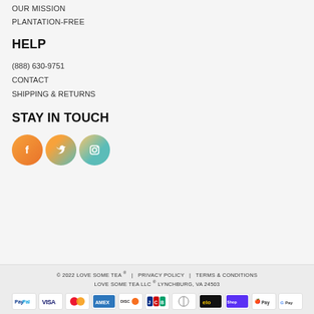OUR MISSION
PLANTATION-FREE
HELP
(888) 630-9751
CONTACT
SHIPPING & RETURNS
STAY IN TOUCH
[Figure (other): Social media icon buttons: Facebook, Twitter, Instagram — orange/teal gradient circles with white icons]
© 2022 LOVE SOME TEA ® | PRIVACY POLICY | TERMS & CONDITIONS
LOVE SOME TEA LLC ® LYNCHBURG, VA 24503
[Figure (other): Payment method icons: PayPal, Visa, Mastercard, American Express, Discover, JCB, Diners Club, elo, Shop Pay, Apple Pay, Google Pay]